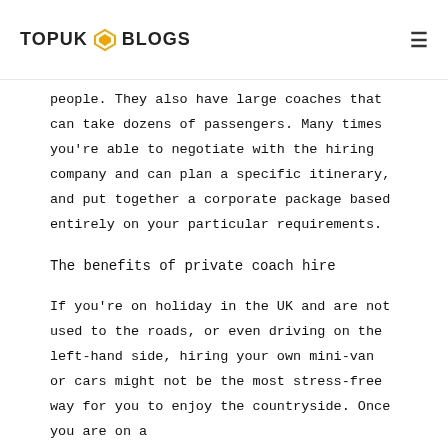TOPUK BLOGS
people. They also have large coaches that can take dozens of passengers. Many times you’re able to negotiate with the hiring company and can plan a specific itinerary, and put together a corporate package based entirely on your particular requirements.
The benefits of private coach hire
If you’re on holiday in the UK and are not used to the roads, or even driving on the left-hand side, hiring your own mini-van or cars might not be the most stress-free way for you to enjoy the countryside. Once you are on a